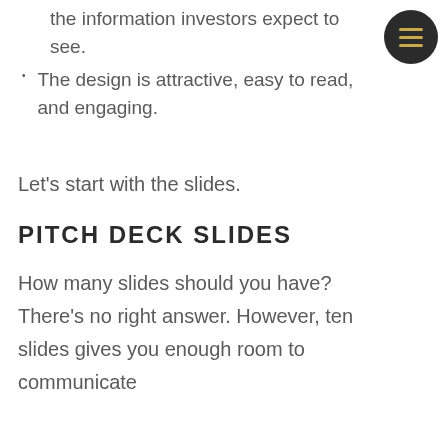the information investors expect to see.
The design is attractive, easy to read, and engaging.
Let's start with the slides.
PITCH DECK SLIDES
How many slides should you have? There's no right answer. However, ten slides gives you enough room to communicate